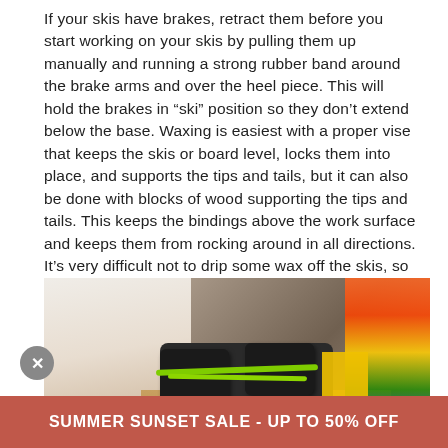If your skis have brakes, retract them before you start working on your skis by pulling them up manually and running a strong rubber band around the brake arms and over the heel piece. This will hold the brakes in "ski" position so they don't extend below the base. Waxing is easiest with a proper vise that keeps the skis or board level, locks them into place, and supports the tips and tails, but it can also be done with blocks of wood supporting the tips and tails. This keeps the bindings above the work surface and keeps them from rocking around in all directions. It's very difficult not to drip some wax off the skis, so if the surface below you needs protection, cover it before you start.
[Figure (photo): A person working on ski bindings on a workbench. Black ski bindings with green straps/rubber bands visible. Colorful ski equipment visible in the background on the right side.]
SUMMER SUNSET SALE - UP TO 50% OFF